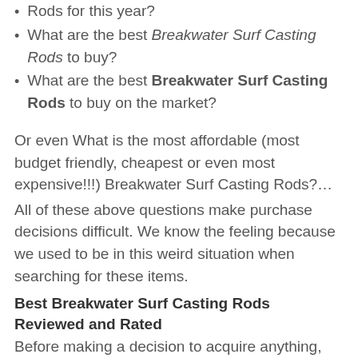Rods for this year?
What are the best Breakwater Surf Casting Rods to buy?
What are the best Breakwater Surf Casting Rods to buy on the market?
Or even What is the most affordable (most budget friendly, cheapest or even most expensive!!!) Breakwater Surf Casting Rods?…
All of these above questions make purchase decisions difficult. We know the feeling because we used to be in this weird situation when searching for these items.
Best Breakwater Surf Casting Rods Reviewed and Rated
Before making a decision to acquire anything, see to it you research and review the evaluations from